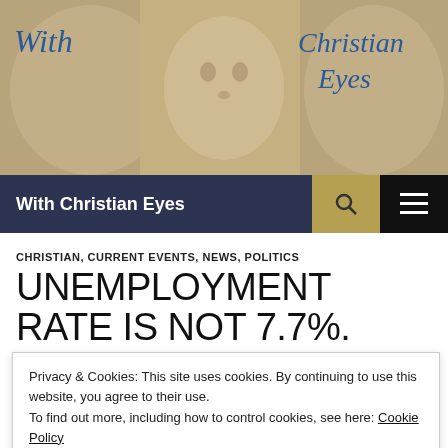[Figure (illustration): Website header banner with sepia-toned angel statues on left and right, and a central figure face. Handwritten-style text 'With' on upper left and 'Christian Eyes' on upper right in blue italic script.]
With Christian Eyes
CHRISTIAN, CURRENT EVENTS, NEWS, POLITICS
UNEMPLOYMENT RATE IS NOT 7.7%. TIRED OF THE NEWS FEEDING YOU
Privacy & Cookies: This site uses cookies. By continuing to use this website, you agree to their use.
To find out more, including how to control cookies, see here: Cookie Policy
Close and accept